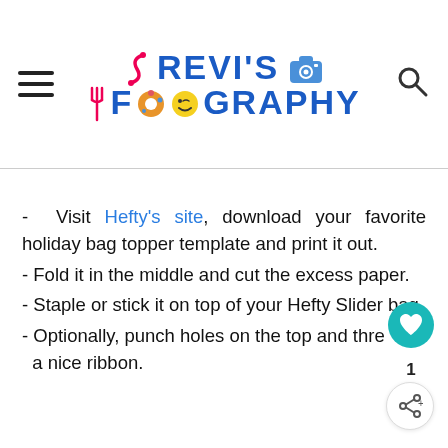Revi's Foodography
- Visit Hefty's site, download your favorite holiday bag topper template and print it out.
- Fold it in the middle and cut the excess paper.
- Staple or stick it on top of your Hefty Slider bag.
- Optionally, punch holes on the top and thread a nice ribbon.